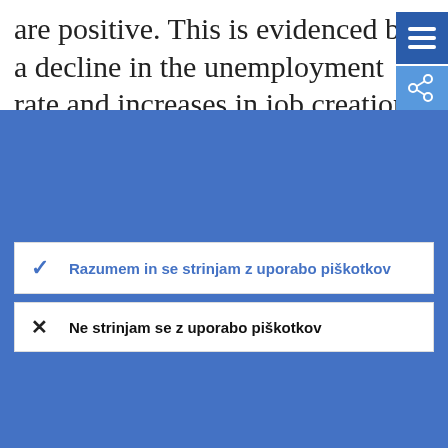are positive. This is evidenced by a decline in the unemployment rate and increases in job creation and in the labour force. The authorities aim to improve the effectivenes...
To spletno mesto uporablja piškotke
Spletno mesto stalno izboljšujemo za naše uporabnike. V ta namen uporabljamo anonimne podatke, ki jih pridobivamo s piškotki.
Več o tem, kako uporabljamo piškotke
Razumem in se strinjam z uporabo piškotkov
Ne strinjam se z uporabo piškotkov